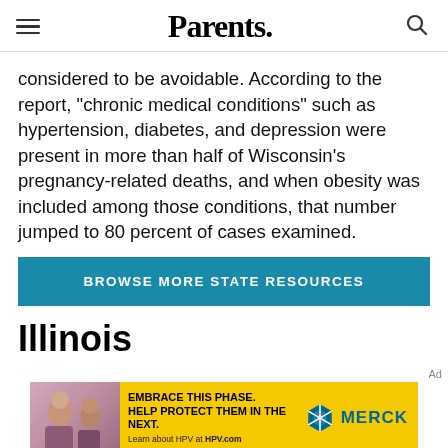Parents.
considered to be avoidable. According to the report, "chronic medical conditions" such as hypertension, diabetes, and depression were present in more than half of Wisconsin's pregnancy-related deaths, and when obesity was included among those conditions, that number jumped to 80 percent of cases examined.
BROWSE MORE STATE RESOURCES
Illinois
[Figure (photo): Merck advertisement banner with yellow background: 'EMBRACE THIS PHASE. HELP PROTECT THEM IN THE NEXT. Learn about HPV at HPV.com' with Merck logo and photo of people.]